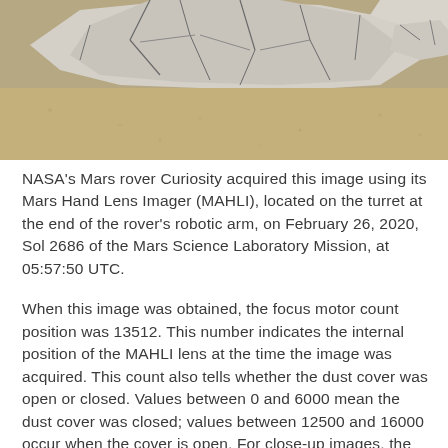[Figure (photo): Close-up photograph of a sandy/dusty Martian surface with cracked, pale grey/white rock or soil formations visible against a tan background, taken by NASA's Mars rover Curiosity using MAHLI.]
NASA's Mars rover Curiosity acquired this image using its Mars Hand Lens Imager (MAHLI), located on the turret at the end of the rover's robotic arm, on February 26, 2020, Sol 2686 of the Mars Science Laboratory Mission, at 05:57:50 UTC.
When this image was obtained, the focus motor count position was 13512. This number indicates the internal position of the MAHLI lens at the time the image was acquired. This count also tells whether the dust cover was open or closed. Values between 0 and 6000 mean the dust cover was closed; values between 12500 and 16000 occur when the cover is open. For close-up images, the motor count can in some cases be used to estimate the distance between the MAHLI lens and target. For example, in-focus images obtained with the dust cover open for which the lens